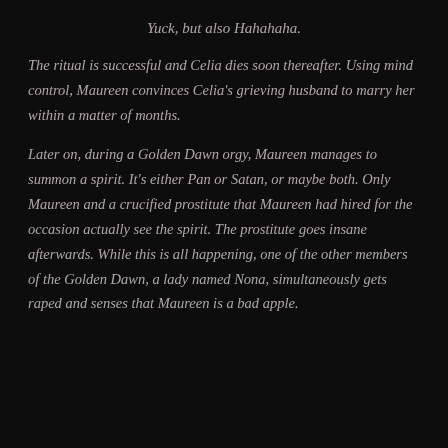Yuck, but also Hahahaha.
The ritual is successful and Celia dies soon thereafter. Using mind control, Maureen convinces Celia's grieving husband to marry her within a matter of months.
Later on, during a Golden Dawn orgy, Maureen manages to summon a spirit. It's either Pan or Satan, or maybe both. Only Maureen and a crucified prostitute that Maureen had hired for the occasion actually see the spirit. The prostitute goes insane afterwards. While this is all happening, one of the other members of the Golden Dawn, a lady named Nona, simultaneously gets raped and senses that Maureen is a bad apple.